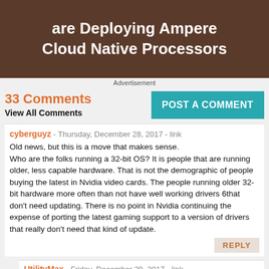[Figure (photo): Advertisement banner with dark brown background showing text 'are Deploying Ampere Cloud Native Processors' in white bold font]
Advertisement
33 Comments
View All Comments
POST A COMMENT
cyberguyz - Thursday, December 28, 2017 - link
Old news, but this is a move that makes sense. Who are the folks running a 32-bit OS? It is people that are running older, less capable hardware. That is not the demographic of people buying the latest in Nvidia video cards. The people running older 32-bit hardware more often than not have well working drivers 6that don't need updating. There is no point in Nvidia continuing the expense of porting the latest gaming support to a version of drivers that really don't need that kind of update.
REPLY
UtilityMax - Friday, December 29, 2017 - link
It's the enterprise customers who use some kind of an ancient and unmaintained app or driver from 1980s or 90s. But it's still strange. Can't a 64-bit OS made compatible with 32-bit apps and even drivers? Doing that would be a lot easier than maintaining a whole 32-bit OS.